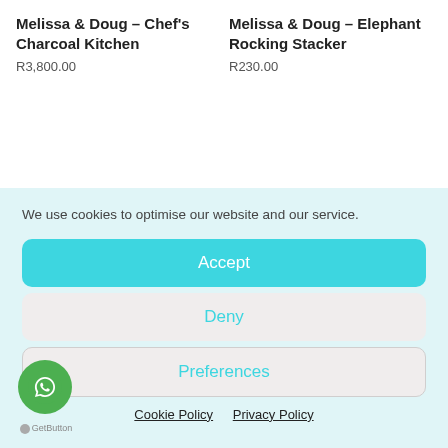Melissa & Doug – Chef's Charcoal Kitchen
R3,800.00
Melissa & Doug – Elephant Rocking Stacker
R230.00
We use cookies to optimise our website and our service.
Accept
Deny
Preferences
Cookie Policy  Privacy Policy